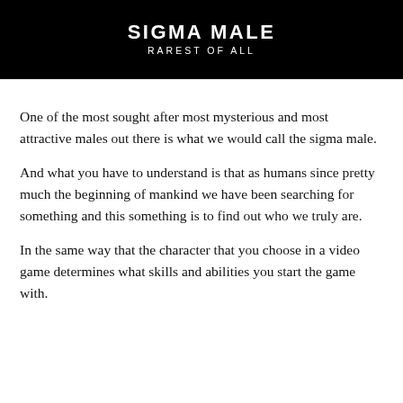[Figure (illustration): Black banner image with a gorilla silhouette on the right, text 'SIGMA MALE' in bold white uppercase letters and 'RAREST OF ALL' below in smaller white uppercase letters on black background.]
One of the most sought after most mysterious and most attractive males out there is what we would call the sigma male.
And what you have to understand is that as humans since pretty much the beginning of mankind we have been searching for something and this something is to find out who we truly are.
In the same way that the character that you choose in a video game determines what skills and abilities you start the game with.